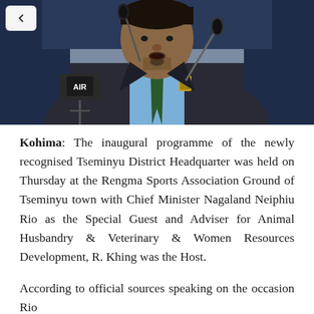[Figure (photo): A man in a dark suit and patterned tie speaking at a podium with microphones, including one labeled 'AIR'. He has a small beard and is wearing a badge. Background shows dark blue curtains.]
Kohima: The inaugural programme of the newly recognised Tseminyu District Headquarter was held on Thursday at the Rengma Sports Association Ground of Tseminyu town with Chief Minister Nagaland Neiphiu Rio as the Special Guest and Adviser for Animal Husbandry & Veterinary & Women Resources Development, R. Khing was the Host.
According to official sources speaking on the occasion Rio said that...